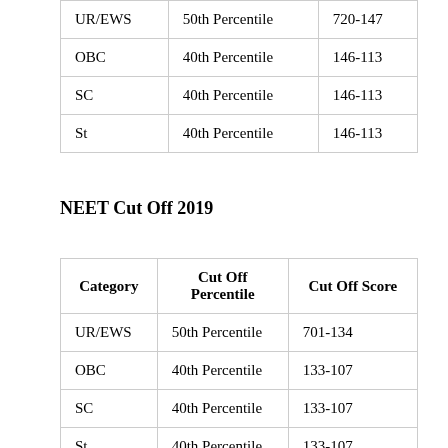| UR/EWS | 50th Percentile | 720-147 |
| OBC | 40th Percentile | 146-113 |
| SC | 40th Percentile | 146-113 |
| St | 40th Percentile | 146-113 |
NEET Cut Off 2019
| Category | Cut Off Percentile | Cut Off Score |
| --- | --- | --- |
| UR/EWS | 50th Percentile | 701-134 |
| OBC | 40th Percentile | 133-107 |
| SC | 40th Percentile | 133-107 |
| St | 40th Percentile | 133-107 |